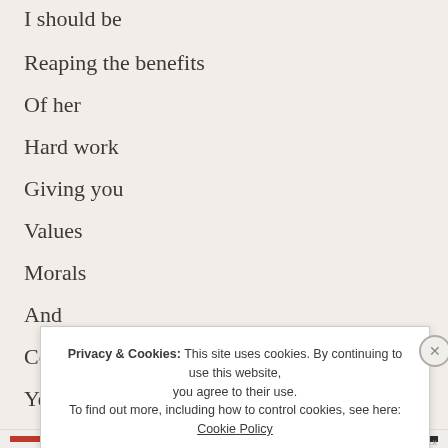I should be
Reaping the benefits
Of her
Hard work
Giving you
Values
Morals
And
Common sense
Yet I'm talking
S…
P…
Privacy & Cookies: This site uses cookies. By continuing to use this website, you agree to their use.
To find out more, including how to control cookies, see here: Cookie Policy
Close and accept
HEREINTHELX